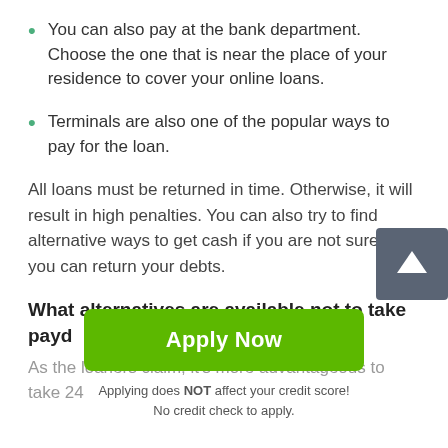You can also pay at the bank department. Choose the one that is near the place of your residence to cover your online loans.
Terminals are also one of the popular ways to pay for the loan.
All loans must be returned in time. Otherwise, it will result in high penalties. You can also try to find alternative ways to get cash if you are not sure that you can return your debts.
What alternatives are available not to take payday loans Dighton online?
As the loaners claim, it's more advantageous to take 24
[Figure (other): Scroll to top button — dark grey square with white upward arrow]
Apply Now
Applying does NOT affect your credit score!
No credit check to apply.